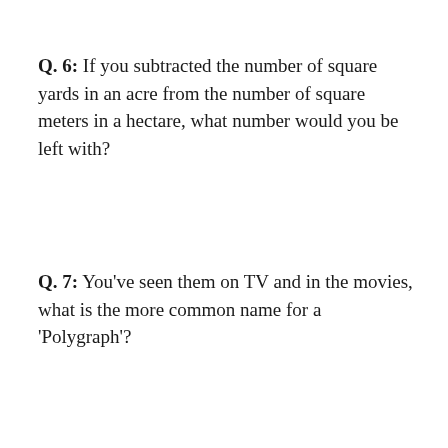Q.  6:  If you subtracted the number of square yards in an acre from the number of square meters in a hectare, what number would you be left with?
Q.  7:  You've seen them on TV and in the movies, what is the more common name for a 'Polygraph'?